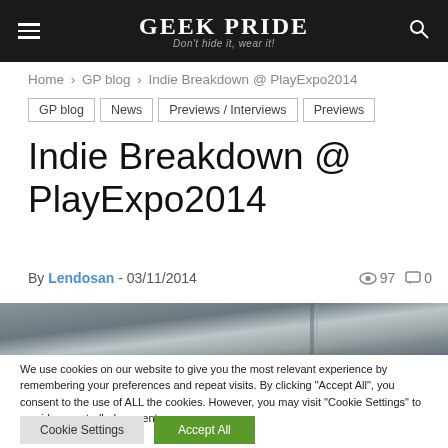GEEK PRIDE – Don't hide it, wear it!
Home › GP blog › Indie Breakdown @ PlayExpo2014
GP blog  News  Previews / Interviews  Previews
Indie Breakdown @ PlayExpo2014
By Lendosan - 03/11/2014  👁 97  💬 0
[Figure (photo): Gray/dark photograph strip, partial image of indoor scene]
We use cookies on our website to give you the most relevant experience by remembering your preferences and repeat visits. By clicking "Accept All", you consent to the use of ALL the cookies. However, you may visit "Cookie Settings" to provide a controlled consent.
Cookie Settings  Accept All